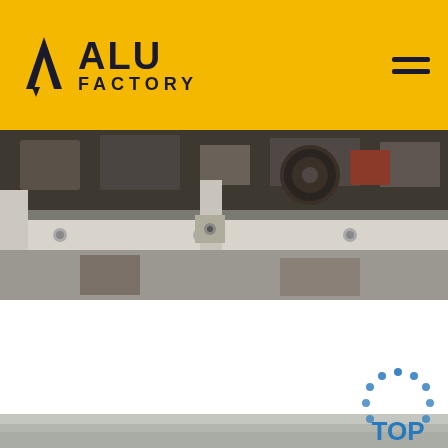ALU FACTORY
[Figure (photo): Industrial factory machinery and aluminum framing, close-up view of metal structural components]
Aluminum Foil - Breakroom & Cafeteria Ite…
Aluminum Foil products are in stock for fast delivery. Buyin…
Get Price
[Figure (photo): Shiny smooth aluminum sheet surface, close-up metallic texture]